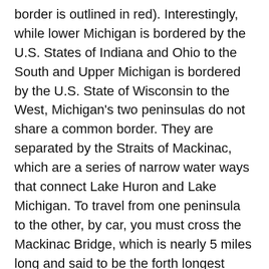border is outlined in red). Interestingly, while lower Michigan is bordered by the U.S. States of Indiana and Ohio to the South and Upper Michigan is bordered by the U.S. State of Wisconsin to the West, Michigan's two peninsulas do not share a common border. They are separated by the Straits of Mackinac, which are a series of narrow water ways that connect Lake Huron and Lake Michigan. To travel from one peninsula to the other, by car, you must cross the Mackinac Bridge, which is nearly 5 miles long and said to be the forth longest suspension bridge in the world. http://www.mackinac.com/about/mackinac-bridge Because Michigan is surrounded by the Great Lakes and adjoining waterways there are also many islands that are part of our state.
To give you a better idea of where we are in Michigan I would hold up my right hand with the palm facing you and my fingers held tightly together (like a mitten) and point to an area near the bottom of my thumb. Michiganders are